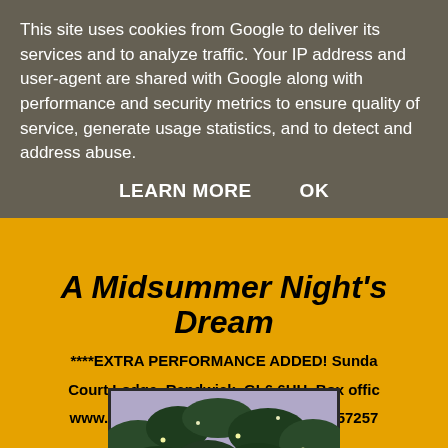This site uses cookies from Google to deliver its services and to analyze traffic. Your IP address and user-agent are shared with Google along with performance and security metrics to ensure quality of service, generate usage statistics, and to detect and address abuse.
LEARN MORE    OK
A Midsummer Night's Dream
****EXTRA PERFORMANCE ADDED! Sunday Court Lodge, Randwick. GL6 6HH. Box office www.everymantheatre.org.uk / 01242 57257
[Figure (illustration): Theatrical illustration showing dark green foliage/leaves against a purple/lavender background with small glowing lights (fireflies), suggesting a midsummer night forest scene.]